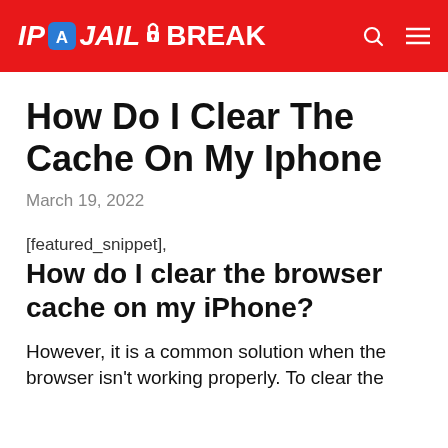IPA JAILBREAK
How Do I Clear The Cache On My Iphone
March 19, 2022
[featured_snippet],
How do I clear the browser cache on my iPhone?
However, it is a common solution when the browser isn't working properly. To clear the